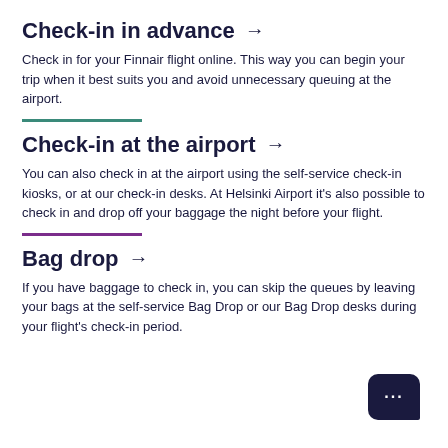Check-in in advance →
Check in for your Finnair flight online. This way you can begin your trip when it best suits you and avoid unnecessary queuing at the airport.
Check-in at the airport →
You can also check in at the airport using the self-service check-in kiosks, or at our check-in desks. At Helsinki Airport it's also possible to check in and drop off your baggage the night before your flight.
Bag drop →
If you have baggage to check in, you can skip the queues by leaving your bags at the self-service Bag Drop or our Bag Drop desks during your flight's check-in period.
[Figure (other): Chat button icon with three dots in bottom right corner]